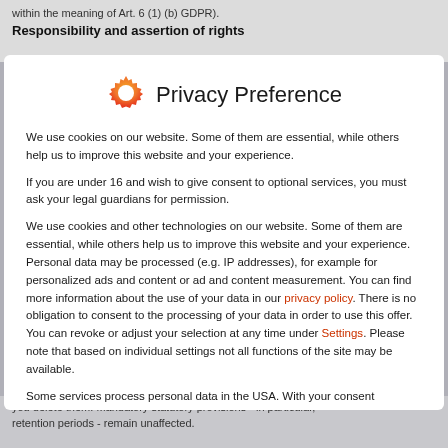within the meaning of Art. 6 (1) (b) GDPR).
Responsibility and assertion of rights
Privacy Preference
We use cookies on our website. Some of them are essential, while others help us to improve this website and your experience.
If you are under 16 and wish to give consent to optional services, you must ask your legal guardians for permission.
We use cookies and other technologies on our website. Some of them are essential, while others help us to improve this website and your experience. Personal data may be processed (e.g. IP addresses), for example for personalized ads and content or ad and content measurement. You can find more information about the use of your data in our privacy policy. There is no obligation to consent to the processing of your data in order to use this offer. You can revoke or adjust your selection at any time under Settings. Please note that based on individual settings not all functions of the site may be available.
Some services process personal data in the USA. With your consent
you delete them. Mandatory statutory provisions - in particular, retention periods - remain unaffected.